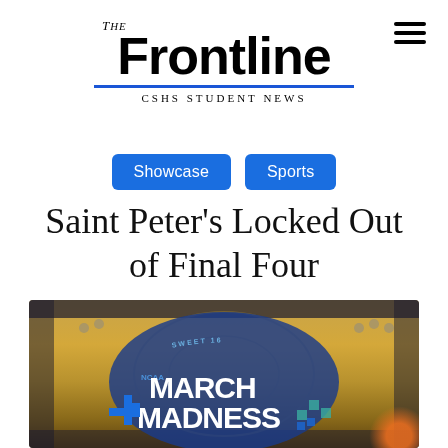The Frontline — CSHS Student News
Showcase
Sports
Saint Peter's Locked Out of Final Four
[Figure (photo): A basketball court showing the NCAA Sweet 16 March Madness logo painted on the court floor, photographed from an elevated angle.]